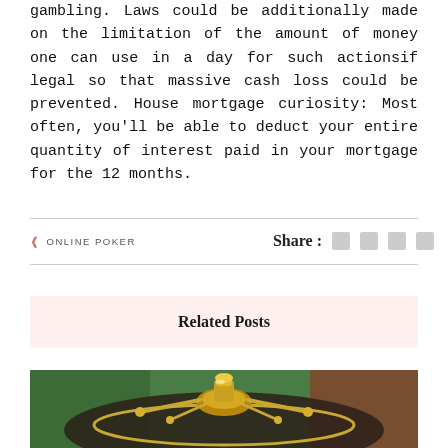gambling. Laws could be additionally made on the limitation of the amount of money one can use in a day for such actionsif legal so that massive cash loss could be prevented. House mortgage curiosity: Most often, you'll be able to deduct your entire quantity of interest paid in your mortgage for the 12 months.
ONLINE POKER | Share :
Related Posts
[Figure (photo): Close-up photo of gold roulette wheel spindle and frets on a roulette table with green and red background]